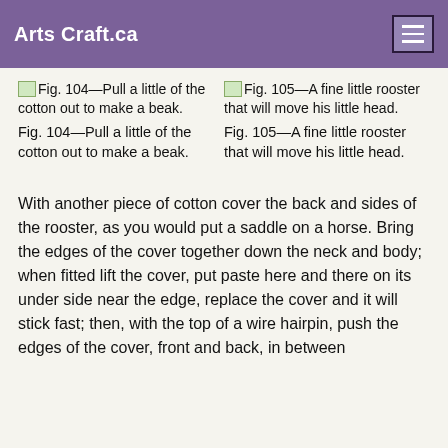Arts Craft.ca
[Figure (illustration): Fig. 104 – Pull a little of the cotton out to make a beak.]
[Figure (illustration): Fig. 105 – A fine little rooster that will move his little head.]
Fig. 104—Pull a little of the cotton out to make a beak.
Fig. 105—A fine little rooster that will move his little head.
With another piece of cotton cover the back and sides of the rooster, as you would put a saddle on a horse. Bring the edges of the cover together down the neck and body; when fitted lift the cover, put paste here and there on its under side near the edge, replace the cover and it will stick fast; then, with the top of a wire hairpin, push the edges of the cover, front and back, in between